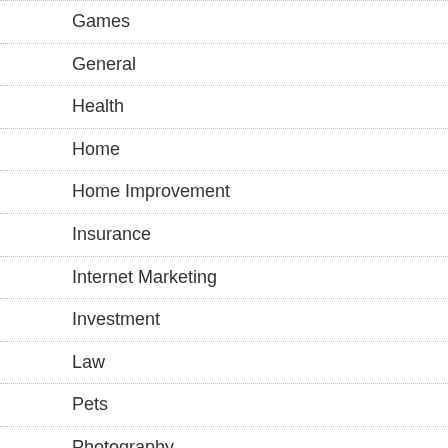Games
General
Health
Home
Home Improvement
Insurance
Internet Marketing
Investment
Law
Pets
Photography